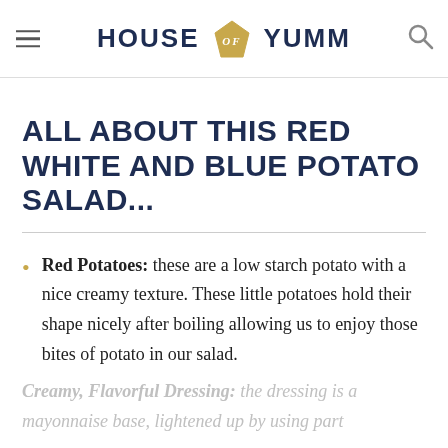HOUSE OF YUMM
ALL ABOUT THIS RED WHITE AND BLUE POTATO SALAD...
Red Potatoes: these are a low starch potato with a nice creamy texture. These little potatoes hold their shape nicely after boiling allowing us to enjoy those bites of potato in our salad.
Creamy, Flavorful Dressing: the dressing is a mayonnaise base, lightened up by using part